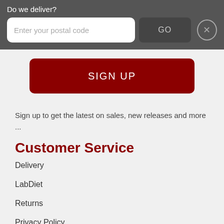Do we deliver?
Enter your postal code
GO
SIGN UP
Sign up to get the latest on sales, new releases and more ...
Customer Service
Delivery
LabDiet
Returns
Privacy Policy
Terms & Conditions
Contact Us